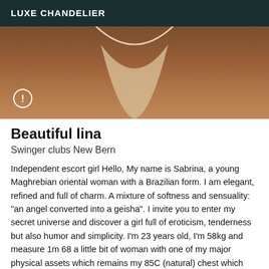LUXE CHANDELIER
[Figure (photo): Close-up photo showing a person's midsection wearing a light-colored bikini bottom, with a warning/exclamation icon overlay in the lower left corner.]
Beautiful lina
Swinger clubs New Bern
Independent escort girl Hello, My name is Sabrina, a young Maghrebian oriental woman with a Brazilian form. I am elegant, refined and full of charm. A mixture of softness and sensuality: "an angel converted into a geisha". I invite you to enter my secret universe and discover a girl full of eroticism, tenderness but also humor and simplicity. I'm 23 years old, I'm 58kg and measure 1m 68 a little bit of woman with one of my major physical assets which remains my 85C (natural) chest which you will certainly enjoy ... I privilege